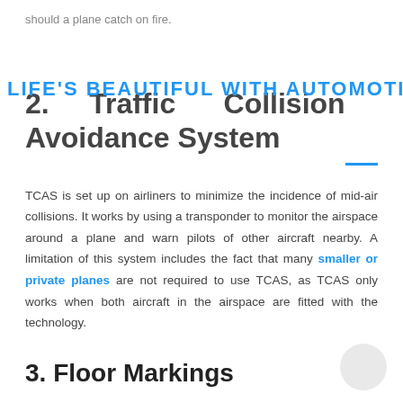should a plane catch on fire.
LIFE'S BEAUTIFUL WITH AUTOMOTIVE
2.    Traffic    Collision Avoidance System
TCAS is set up on airliners to minimize the incidence of mid-air collisions. It works by using a transponder to monitor the airspace around a plane and warn pilots of other aircraft nearby. A limitation of this system includes the fact that many smaller or private planes are not required to use TCAS, as TCAS only works when both aircraft in the airspace are fitted with the technology.
3. Floor Markings